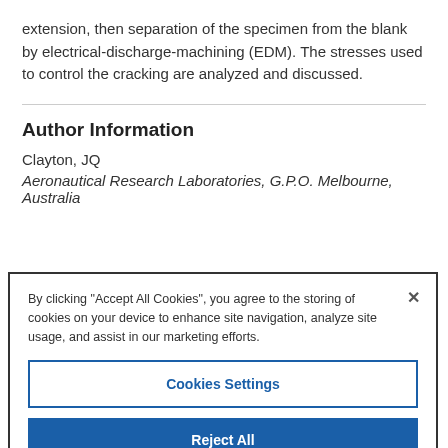extension, then separation of the specimen from the blank by electrical-discharge-machining (EDM). The stresses used to control the cracking are analyzed and discussed.
Author Information
Clayton, JQ
Aeronautical Research Laboratories, G.P.O. Melbourne, Australia
By clicking "Accept All Cookies", you agree to the storing of cookies on your device to enhance site navigation, analyze site usage, and assist in our marketing efforts.
Cookies Settings
Reject All